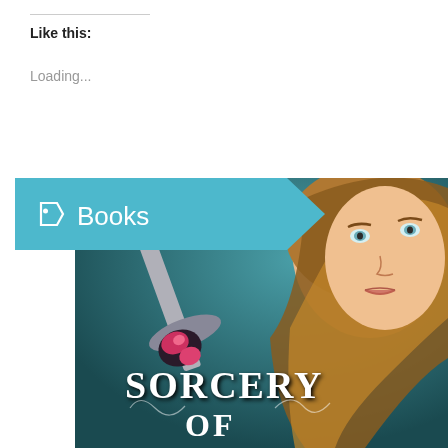Like this:
Loading...
[Figure (illustration): Teal tag/ribbon banner with a tag icon and the word 'Books' in white text on a teal background, styled as a category label with an arrow-cut right edge.]
[Figure (photo): Book cover for 'Sorcery of Thorns' showing a young woman with long auburn hair, holding a sword with a jeweled hilt, against a dark teal background. The title 'SORCERY OF' is visible in ornate white lettering at the bottom of the cover.]